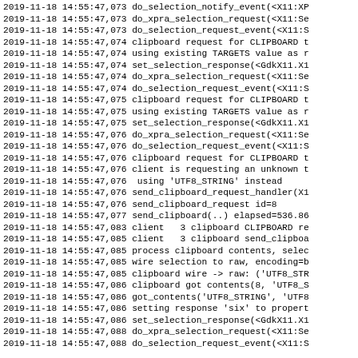2019-11-18 14:55:47,073 do_selection_notify_event(<X11:XP
2019-11-18 14:55:47,073 do_xpra_selection_request(<X11:Se
2019-11-18 14:55:47,073 do_selection_request_event(<X11:S
2019-11-18 14:55:47,074 clipboard request for CLIPBOARD t
2019-11-18 14:55:47,074 using existing TARGETS value as r
2019-11-18 14:55:47,074 set_selection_response(<GdkX11.X1
2019-11-18 14:55:47,074 do_xpra_selection_request(<X11:Se
2019-11-18 14:55:47,074 do_selection_request_event(<X11:S
2019-11-18 14:55:47,075 clipboard request for CLIPBOARD t
2019-11-18 14:55:47,075 using existing TARGETS value as r
2019-11-18 14:55:47,075 set_selection_response(<GdkX11.X1
2019-11-18 14:55:47,076 do_xpra_selection_request(<X11:Se
2019-11-18 14:55:47,076 do_selection_request_event(<X11:S
2019-11-18 14:55:47,076 clipboard request for CLIPBOARD t
2019-11-18 14:55:47,076 client is requesting an unknown t
2019-11-18 14:55:47,076  using 'UTF8_STRING' instead
2019-11-18 14:55:47,076 send_clipboard_request_handler(X1
2019-11-18 14:55:47,076 send_clipboard_request id=8
2019-11-18 14:55:47,077 send_clipboard(..) elapsed=536.86
2019-11-18 14:55:47,083 client   3 clipboard CLIPBOARD re
2019-11-18 14:55:47,085 client   3 clipboard send_clipboa
2019-11-18 14:55:47,085 process clipboard contents, selec
2019-11-18 14:55:47,085 wire selection to raw, encoding=b
2019-11-18 14:55:47,085 clipboard wire -> raw: ('UTF8_STR
2019-11-18 14:55:47,086 clipboard got contents(8, 'UTF8_S
2019-11-18 14:55:47,086 got_contents('UTF8_STRING', 'UTF8
2019-11-18 14:55:47,086 setting response 'six' to propert
2019-11-18 14:55:47,086 set_selection_response(<GdkX11.X1
2019-11-18 14:55:47,088 do_xpra_selection_request(<X11:Se
2019-11-18 14:55:47,088 do_selection_request_event(<X11:S